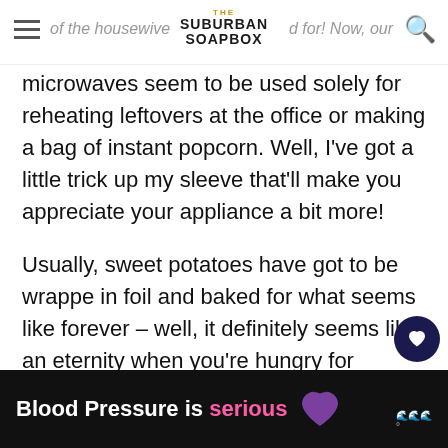THE SUBURBAN SOAPBOX
microwaves seem to be used solely for reheating leftovers at the office or making a bag of instant popcorn. Well, I've got a little trick up my sleeve that'll make you appreciate your appliance a bit more!
Usually, sweet potatoes have got to be wrapped in foil and baked for what seems like forever – well, it definitely seems like an eternity when you're hungry for dinner. Instead of playing a waiting game, have you ever considered just popping that sweet potato into the microwave fo... ...y to just
[Figure (infographic): Ad banner: Blood Pressure is serious, with a purple heart graphic]
Blood Pressure is serious